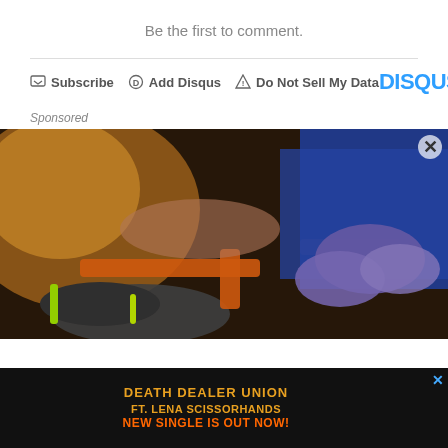Be the first to comment.
Subscribe   Add Disqus   Do Not Sell My Data   DISQUS
Sponsored
[Figure (photo): Medical professional in blue scrubs and purple gloves attending to an injured person wearing athletic shoes, with orange medical equipment visible. A sports injury or emergency medical scene.]
[Figure (screenshot): Advertisement banner: dark background with fiery imagery. Text reads: DEATH DEALER UNION FT. LENA SCISSORHANDS NEW SINGLE IS OUT NOW! with a blue X close button.]